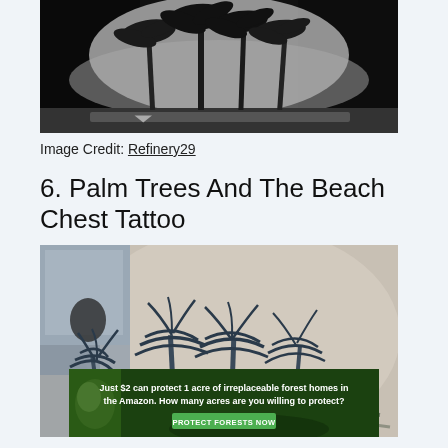[Figure (photo): Black and white photo of a tattoo on skin showing palm trees silhouetted against a textured sky background]
Image Credit: Refinery29
6. Palm Trees And The Beach Chest Tattoo
[Figure (photo): Color photo of a chest/shoulder tattoo showing detailed blue-toned palm trees clustered together]
[Figure (infographic): Advertisement banner: Just $2 can protect 1 acre of irreplaceable forest homes in the Amazon. How many acres are you willing to protect? PROTECT FORESTS NOW]